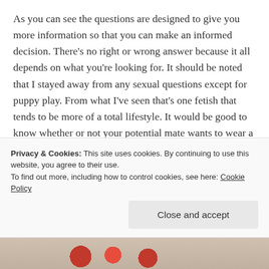As you can see the questions are designed to give you more information so that you can make an informed decision. There's no right or wrong answer because it all depends on what you're looking for. It should be noted that I stayed away from any sexual questions except for puppy play. From what I've seen that's one fetish that tends to be more of a total lifestyle. It would be good to know whether or not your potential mate wants to wear a dog collar in everyday life or whether or not he'd have a problem with you doing it. I also separated out the triad question because I'm still
Privacy & Cookies: This site uses cookies. By continuing to use this website, you agree to their use.
To find out more, including how to control cookies, see here: Cookie Policy
Close and accept
[Figure (photo): Partial image strip at bottom showing red heart-shaped objects against a light wooden background]